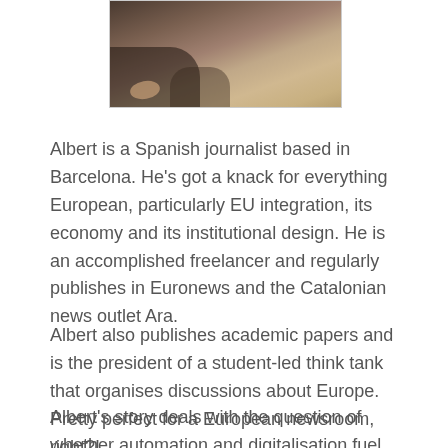[Figure (photo): Partial photo of a person sitting on rocks outdoors, showing hand and dark clothing, cropped at top of page]
Albert is a Spanish journalist based in Barcelona. He's got a knack for everything European, particularly EU integration, its economy and its institutional design. He is an accomplished freelancer and regularly publishes in Euronews and the Catalonian news outlet Ara.
Albert also publishes academic papers and is the president of a student-led think tank that organises discussions about Europe. Pretty perfect for a European newsroom, right?!
Albert's story deals with the question of whether automation and digitalisation fuel polarisation.